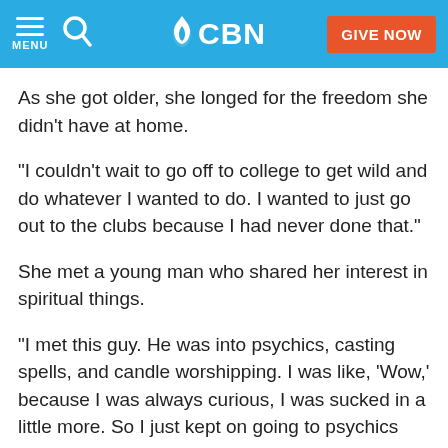CBN — MENU | Search | GIVE NOW
As she got older, she longed for the freedom she didn't have at home.
"I couldn't wait to go off to college to get wild and do whatever I wanted to do. I wanted to just go out to the clubs because I had never done that."
She met a young man who shared her interest in spiritual things.
"I met this guy. He was into psychics, casting spells, and candle worshipping. I was like, 'Wow,' because I was always curious, I was sucked in a little more. So I just kept on going to psychics and just reading about mysticism,